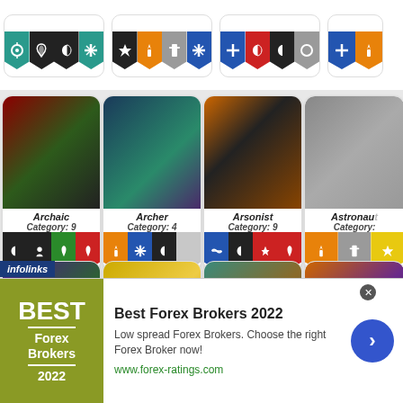[Figure (screenshot): Top partial row of game character card badges (4 groups of colored pennant icons)]
[Figure (screenshot): Archaic dragon card, Category 9, with 4 colored badge icons (black moon, black figure, green flame, red flame)]
[Figure (screenshot): Archer dragon card, Category 4, with 3 colored badge icons (orange lightning, blue snowflake, black moon) and one gray empty badge]
[Figure (screenshot): Arsonist dragon card, Category 9, with 4 colored badge icons (blue infinity, black moon, red helmet, red flame)]
[Figure (screenshot): Astronaut dragon card (partially visible), Category unknown, with badge icons (orange lightning, gray screwdriver, yellow star)]
[Figure (screenshot): Aurora dragon card, Category 4]
[Figure (screenshot): Banana dragon card, Category 4]
[Figure (screenshot): Barebone dragon card, Category 4]
[Figure (screenshot): Bat dragon card (partially visible), Category partial]
infolinks
Best Forex Brokers 2022
Low spread Forex Brokers. Choose the right Forex Broker now!
www.forex-ratings.com